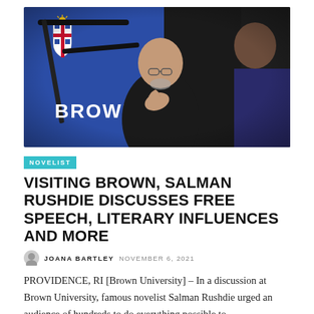[Figure (photo): Salman Rushdie speaking at Brown University event, gesturing with hands, with Blue Brown University backdrop and logo visible. A second person is seen from behind on the right.]
NOVELIST
VISITING BROWN, SALMAN RUSHDIE DISCUSSES FREE SPEECH, LITERARY INFLUENCES AND MORE
JOANA BARTLEY  NOVEMBER 6, 2021
PROVIDENCE, RI [Brown University] – In a discussion at Brown University, famous novelist Salman Rushdie urged an audience of hundreds to do everything possible to